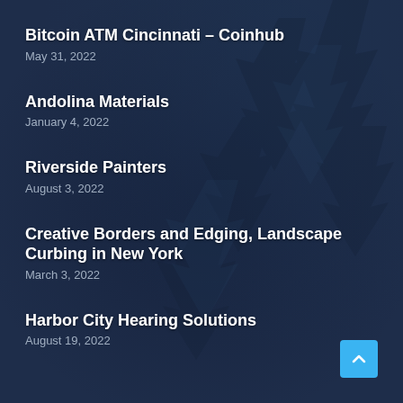Bitcoin ATM Cincinnati – Coinhub
May 31, 2022
Andolina Materials
January 4, 2022
Riverside Painters
August 3, 2022
Creative Borders and Edging, Landscape Curbing in New York
March 3, 2022
Harbor City Hearing Solutions
August 19, 2022